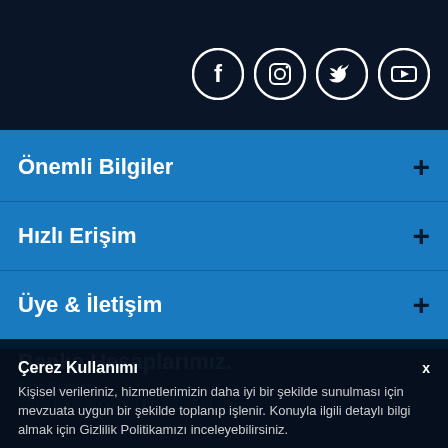[Figure (infographic): Social media icons: Facebook, Instagram, Twitter, YouTube — white icons in dark circles on dark navy background]
Önemli Bilgiler +
Hızlı Erişim +
Üye & İletişim +
Banka Hesaplarımız.
T. İş Bankası
TR89 0006 4000 0011 0252 8448 15
Çerez Kullanımı
Kişisel verileriniz, hizmetlerimizin daha iyi bir şekilde sunulması için mevzuata uygun bir şekilde toplanıp işlenir. Konuyla ilgili detaylı bilgi almak için Gizlilik Politikamızı inceleyebilirsiniz.